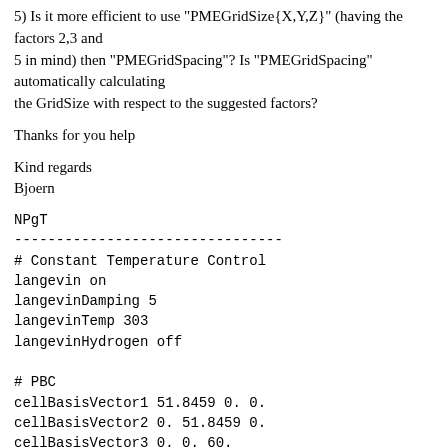5) Is it more efficient to use "PMEGridSize{X,Y,Z}" (having the factors 2,3 and
5 in mind) then "PMEGridSpacing"? Is "PMEGridSpacing" automatically calculating
the GridSize with respect to the suggested factors?
Thanks for you help
Kind regards
Bjoern
NPgT
--------------------------------
# Constant Temperature Control
langevin on
langevinDamping 5
langevinTemp 303
langevinHydrogen off

# PBC
cellBasisVector1 51.8459 0. 0.
cellBasisVector2 0. 51.8459 0.
cellBasisVector3 0. 0. 60.
cellOrigin 0. 0. 0.
wrapAll on